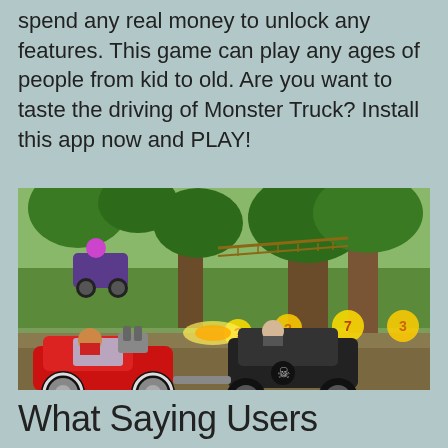spend any real money to unlock any features. This game can play any ages of people from kid to old. Are you want to taste the driving of Monster Truck? Install this app now and PLAY!
[Figure (screenshot): Screenshot of a cartoon racing game showing two vehicles on a jungle/forest track. A red hot-rod car is on the left and a black monster truck with skull-and-crossbones on the right. In the background, another vehicle with a purple character is airborne. Power-up items are visible on the track. Trees and rope bridges form the background scenery.]
What Saying Users